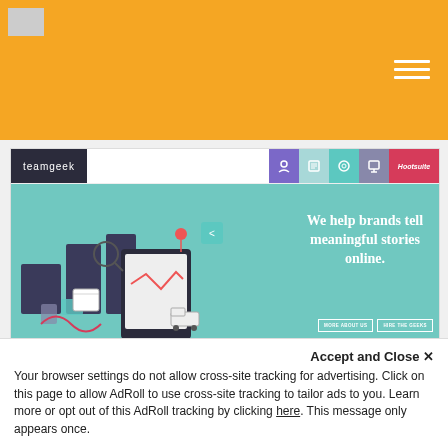[Figure (screenshot): Orange navigation header bar with hamburger menu icon on the right and small logo image top-left]
[Figure (screenshot): Screenshot of teamgeek website showing navigation bar with logo and icons, hero section with teal background showing 'We help brands tell meaningful stories online.' text and two buttons, social media icons, and 'Who we are' section below]
Accept and Close ×
Your browser settings do not allow cross-site tracking for advertising. Click on this page to allow AdRoll to use cross-site tracking to tailor ads to you. Learn more or opt out of this AdRoll tracking by clicking here. This message only appears once.